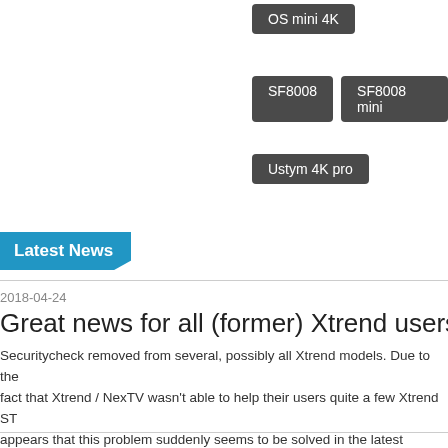[Figure (other): Dark grey button/tag labeled 'OS mini 4K']
[Figure (other): Two dark grey buttons/tags labeled 'SF8008' and 'SF8008 mini']
[Figure (other): Dark grey button/tag labeled 'Ustym 4K pro']
Latest News
2018-04-24
Great news for all (former) Xtrend users. Securityc...
Securitycheck removed from several, possibly all Xtrend models. Due to the fact that Xtrend / NexTV wasn't able to help their users quite a few Xtrend ST... appears that this problem suddenly seems to be solved in the latest drivers. I...